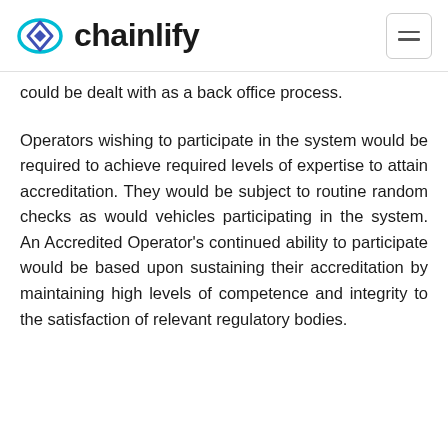chainlify
could be dealt with as a back office process.
Operators wishing to participate in the system would be required to achieve required levels of expertise to attain accreditation. They would be subject to routine random checks as would vehicles participating in the system. An Accredited Operator's continued ability to participate would be based upon sustaining their accreditation by maintaining high levels of competence and integrity to the satisfaction of relevant regulatory bodies.